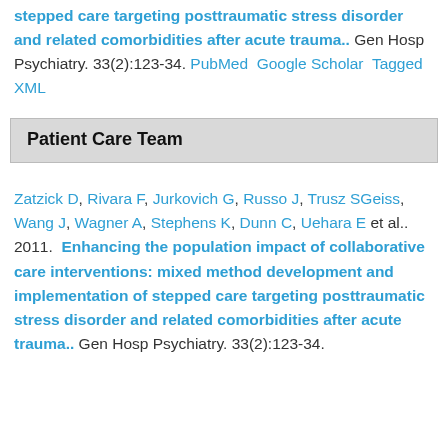stepped care targeting posttraumatic stress disorder and related comorbidities after acute trauma.. Gen Hosp Psychiatry. 33(2):123-34. PubMed  Google Scholar  Tagged  XML
Patient Care Team
Zatzick D, Rivara F, Jurkovich G, Russo J, Trusz SGeiss, Wang J, Wagner A, Stephens K, Dunn C, Uehara E et al..  2011.  Enhancing the population impact of collaborative care interventions: mixed method development and implementation of stepped care targeting posttraumatic stress disorder and related comorbidities after acute trauma..  Gen Hosp Psychiatry. 33(2):123-34.